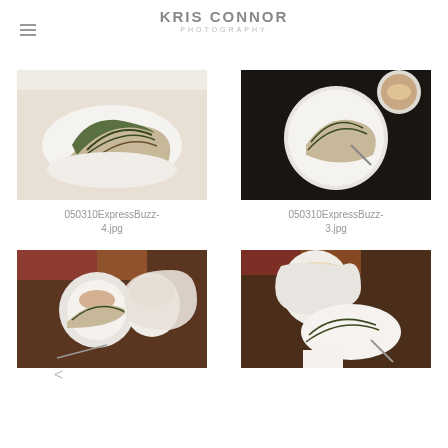KRIS CONNOR
PHOTOGRAPHY
[Figure (photo): Close-up photo of a slice of spinach quiche on a white plate, top-left grid item]
050310ExpressBuzz-4.jpg
[Figure (photo): Overhead photo of a slice of spinach quiche on a white plate with a fork, and a cappuccino cup on a dark background, top-right grid item]
050310ExpressBuzz-3.jpg
[Figure (photo): Photo of a small white cappuccino cup and a slice of spinach quiche on a plate with fork, bottom-left grid item]
[Figure (photo): Photo of a white coffee mug and a slice of spinach quiche on a plate with fork, bottom-right grid item]